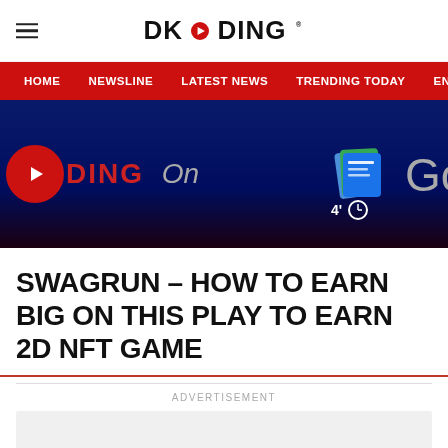DKODING
HOME   NEWSLINE   LATEST NEWS   TRENDING TODAY   ENT
[Figure (screenshot): Dark blue banner with DKODING On branding and Google News icon on the right with time indicator 4' and clock icon]
SWAGRUN – HOW TO EARN BIG ON THIS PLAY TO EARN 2D NFT GAME
ADVERTISEMENT
[Figure (other): Grey advertisement placeholder box]